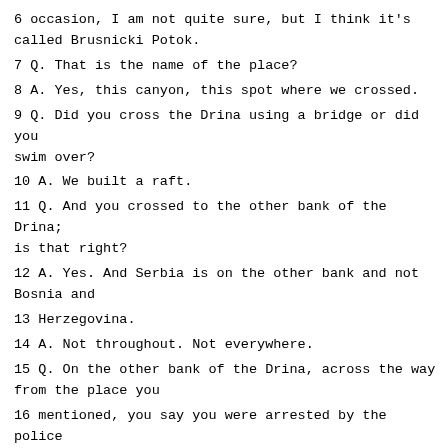6 occasion, I am not quite sure, but I think it's called Brusnicki Potok.
7 Q. That is the name of the place?
8 A. Yes, this canyon, this spot where we crossed.
9 Q. Did you cross the Drina using a bridge or did you swim over?
10 A. We built a raft.
11 Q. And you crossed to the other bank of the Drina; is that right?
12 A. Yes. And Serbia is on the other bank and not Bosnia and
13 Herzegovina.
14 A. Not throughout. Not everywhere.
15 Q. On the other bank of the Drina, across the way from the place you
16 mentioned, you say you were arrested by the police of the Republic of
17 Serbia; is that right?
18 A. I already said that somewhere around the border.